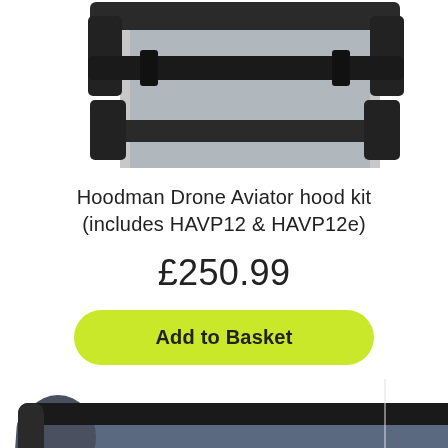[Figure (photo): Top portion of a Hoodman drone aviator hood kit product photo showing tablet mount with dark straps on grey device]
Hoodman Drone Aviator hood kit (includes HAVP12 & HAVP12e)
£250.99
Add to Basket
[Figure (photo): Bottom product photo showing a dark grey/navy zippered case with black trim straps and partial Hoodman logo visible at bottom]